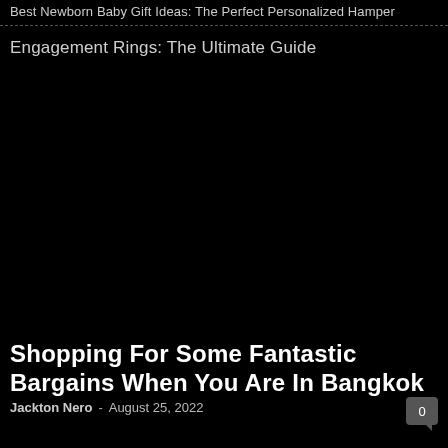Best Newborn Baby Gift Ideas: The Perfect Personalized Hamper
Engagement Rings: The Ultimate Guide
[Figure (photo): Large black image area representing a photograph placeholder for the article about shopping in Bangkok]
Shopping For Some Fantastic Bargains When You Are In Bangkok
Jackton Nero  -  August 25, 2022
0